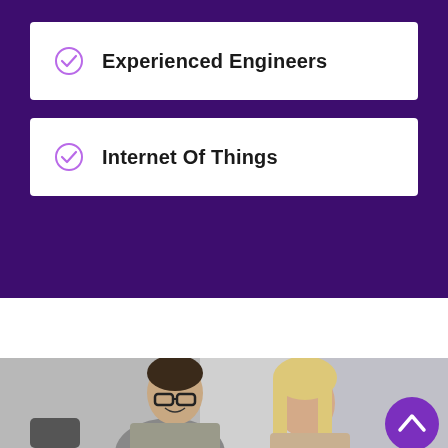Experienced Engineers
Internet Of Things
[Figure (photo): Two professionals, a smiling man with glasses and a woman with blonde hair, looking at a device together in an office setting. A purple scroll-to-top button (chevron up) is overlaid in the bottom right.]